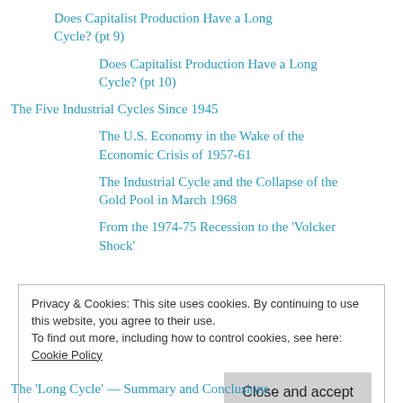Does Capitalist Production Have a Long Cycle? (pt 9)
Does Capitalist Production Have a Long Cycle? (pt 10)
The Five Industrial Cycles Since 1945
The U.S. Economy in the Wake of the Economic Crisis of 1957-61
The Industrial Cycle and the Collapse of the Gold Pool in March 1968
From the 1974-75 Recession to the 'Volcker Shock'
Privacy & Cookies: This site uses cookies. By continuing to use this website, you agree to their use.
To find out more, including how to control cookies, see here: Cookie Policy
The 'Long Cycle' — Summary and Conclusions